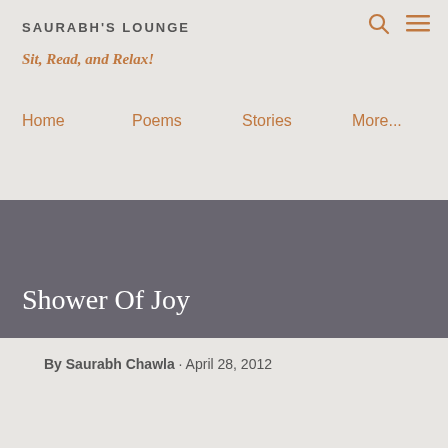SAURABH'S LOUNGE
Sit, Read, and Relax!
Home
Poems
Stories
More...
Shower Of Joy
By Saurabh Chawla · April 28, 2012